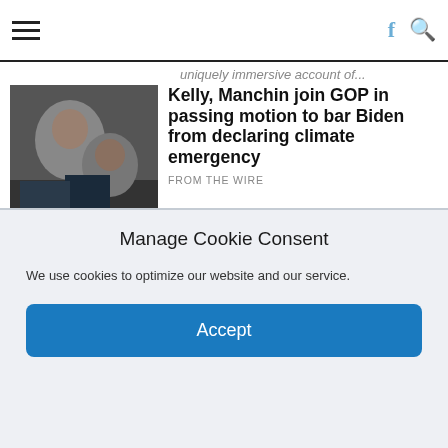Navigation bar with hamburger menu, Facebook and Search icons
uniquely immersive account of...
Kelly, Manchin join GOP in passing motion to bar Biden from declaring climate emergency
FROM THE WIRE
"Our political leadership is out to kill most of us," lamented one climate justice advocate. by Jake Johnson, Common Dreams...
Intuit will pay millions to customers tricked into paying for TurboTax
FROM THE WIRE
State attorneys general just reached a $141 million settlement with the Silicon Valley juggernaut.
Manage Cookie Consent
We use cookies to optimize our website and our service.
Accept